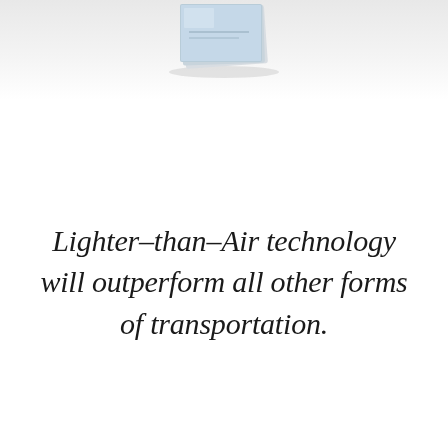[Figure (photo): Partial view of a document or book with light blue cover, slightly elevated, at the top of the page against a light grey background]
Lighter-than-Air technology will outperform all other forms of transportation.